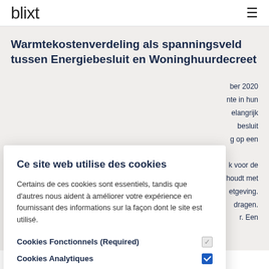blixt
Warmtekostenverdeling als spanningsveld tussen Energiebesluit en Woninghuurdecreet
Ce site web utilise des cookies
Certains de ces cookies sont essentiels, tandis que d'autres nous aident à améliorer votre expérience en fournissant des informations sur la façon dont le site est utilisé.
Cookies Fonctionnels (Required)
Cookies Analytiques
Cookies de partage social
DETAILS   OK